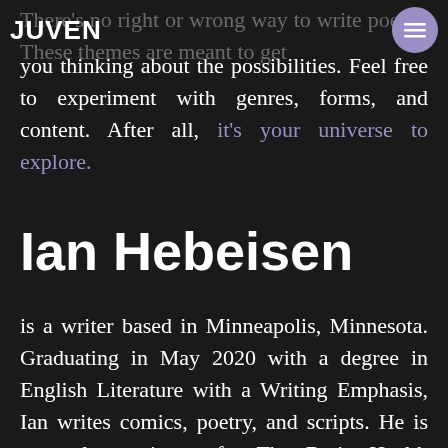JUVEN
There's no right or wrong way to write poetry. These themes are meant to get you thinking about the possibilities. Feel free to experiment with genres, forms, and content. After all, it's your universe to explore.
Ian Hebeisen
is a writer based in Minneapolis, Minnesota. Graduating in May 2020 with a degree in English Literature with a Writing Emphasis, Ian writes comics, poetry, and scripts. He is currently an intern for The Brain Health Magazine and is currently working on the...